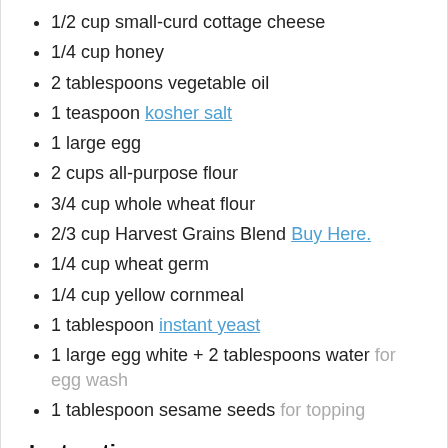1/2 cup small-curd cottage cheese
1/4 cup honey
2 tablespoons vegetable oil
1 teaspoon kosher salt
1 large egg
2 cups all-purpose flour
3/4 cup whole wheat flour
2/3 cup Harvest Grains Blend Buy Here.
1/4 cup wheat germ
1/4 cup yellow cornmeal
1 tablespoon instant yeast
1 large egg white + 2 tablespoons water for egg wash
1 tablespoon sesame seeds for topping
Instructions
Begin by gathering all your ingredients and having them close at hand on the counter or table.